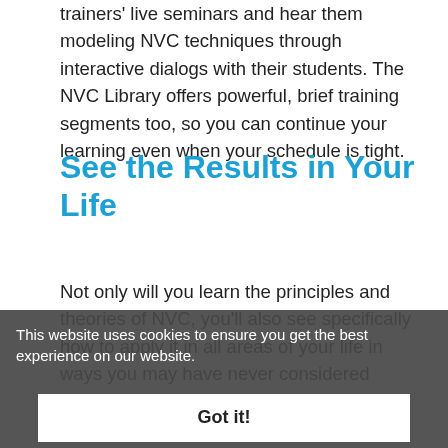trainers' live seminars and hear them modeling NVC techniques through interactive dialogs with their students. The NVC Library offers powerful, brief training segments too, so you can continue your learning even when your schedule is tight.
See the Results in Your Life
Not only will you learn the principles and theories of NVC, you'll also see specifically how to apply it in all areas of your life in ways you may have never considered before. The NVC Academy has been searching out the trainers who excel at teaching NVC (and using it) who use as the four-step NVC process.
"Our mission is to help people incorporate NVC consciousness to create a rich and vibrant...
This website uses cookies to ensure you get the best experience on our website.
Got it!